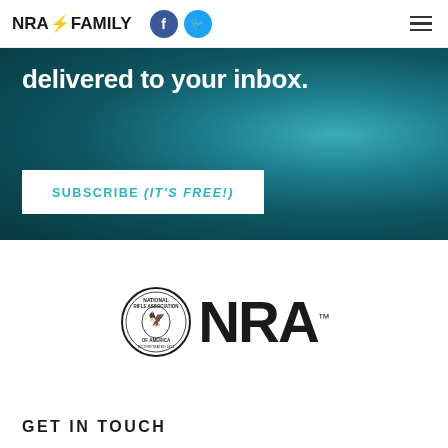NRA FAMILY
[Figure (logo): NRA Family logo with eagle icon, Facebook and Twitter social icons, and hamburger menu]
delivered to your inbox.
SUBSCRIBE (IT'S FREE!)
[Figure (logo): NRA National Rifle Association of America circular seal logo alongside large NRA wordmark with trademark symbol]
GET IN TOUCH